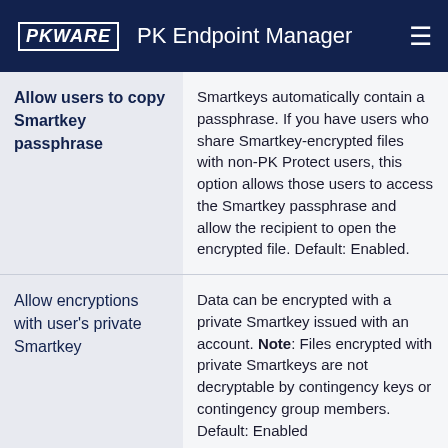PKWARE   PK Endpoint Manager
| Allow users to copy Smartkey passphrase | Smartkeys automatically contain a passphrase. If you have users who share Smartkey-encrypted files with non-PK Protect users, this option allows those users to access the Smartkey passphrase and allow the recipient to open the encrypted file. Default: Enabled. |
| Allow encryptions with user's private Smartkey | Data can be encrypted with a private Smartkey issued with an account. Note: Files encrypted with private Smartkeys are not decryptable by contingency keys or contingency group members. Default: Enabled |